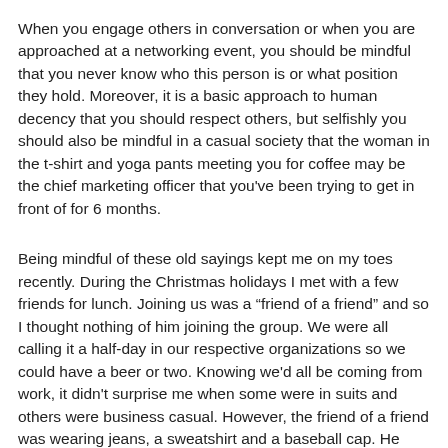When you engage others in conversation or when you are approached at a networking event, you should be mindful that you never know who this person is or what position they hold. Moreover, it is a basic approach to human decency that you should respect others, but selfishly you should also be mindful in a casual society that the woman in the t-shirt and yoga pants meeting you for coffee may be the chief marketing officer that you've been trying to get in front of for 6 months.
Being mindful of these old sayings kept me on my toes recently. During the Christmas holidays I met with a few friends for lunch. Joining us was a “friend of a friend” and so I thought nothing of him joining the group. We were all calling it a half-day in our respective organizations so we could have a beer or two. Knowing we'd all be coming from work, it didn't surprise me when some were in suits and others were business casual. However, the friend of a friend was wearing jeans, a sweatshirt and a baseball cap. He looked as though he just rolled out of bed and rushed to meet us. Turns out he was taking the day off and doing a little shopping. Oh yeah, he's the CFO